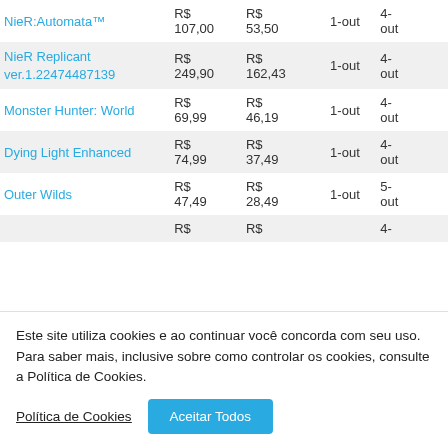| Game | Original Price | Sale Price | Date Start | Date End |
| --- | --- | --- | --- | --- |
| NieR:Automata™ | R$ 107,00 | R$ 53,50 | 1-out | 4-out |
| NieR Replicant ver.1.22474487139 | R$ 249,90 | R$ 162,43 | 1-out | 4-out |
| Monster Hunter: World | R$ 69,99 | R$ 46,19 | 1-out | 4-out |
| Dying Light Enhanced | R$ 74,99 | R$ 37,49 | 1-out | 4-out |
| Outer Wilds | R$ 47,49 | R$ 28,49 | 1-out | 5-out |
|  | R$ | R$ |  | 4- |
Este site utiliza cookies e ao continuar você concorda com seu uso. Para saber mais, inclusive sobre como controlar os cookies, consulte a Política de Cookies.
Política de Cookies  Aceitar Todos